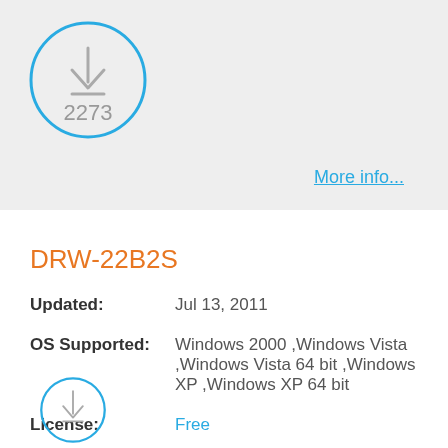[Figure (infographic): Blue circle with download icon and count 2273]
More info...
DRW-22B2S
Updated: Jul 13, 2011
OS Supported: Windows 2000 ,Windows Vista ,Windows Vista 64 bit ,Windows XP ,Windows XP 64 bit
License: Free
[Figure (infographic): Blue circle with download icon (partial, bottom of page)]